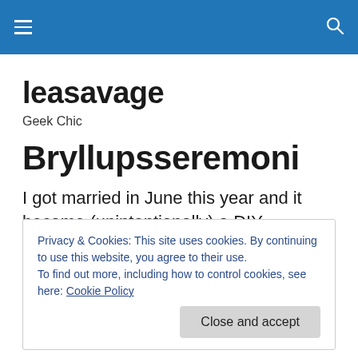≡  🔍
leasavage
Geek Chic
Bryllupsseremoni
I got married in June this year and it became (unintentionally) a DIY Wedding for some of the elements.
Privacy & Cookies: This site uses cookies. By continuing to use this website, you agree to their use. To find out more, including how to control cookies, see here: Cookie Policy